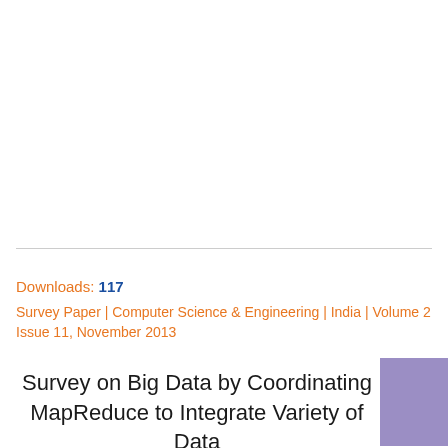Downloads: 117
Survey Paper | Computer Science & Engineering | India | Volume 2 Issue 11, November 2013
Survey on Big Data by Coordinating MapReduce to Integrate Variety of Data